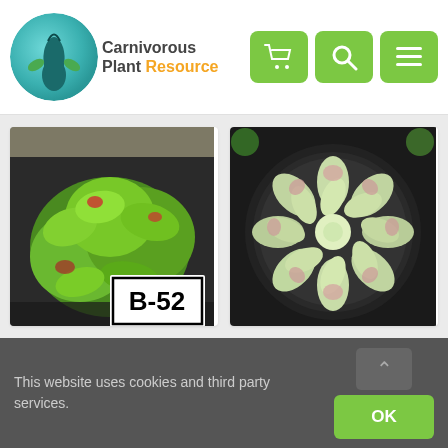[Figure (logo): Carnivorous Plant Resource logo with teal circle and plant silhouette, text reads Carnivorous Plant Resource]
[Figure (infographic): Navigation icons: shopping cart, search, menu (hamburger) on green rounded square backgrounds]
[Figure (photo): Venus Flytrap B52 plant with green leaves on dark soil, with a white label reading B-52 in bold black text]
Venus Flytrap “B52”
[Figure (photo): Pinguicula plant in a black pot viewed from above, showing a rosette of pale green succulent-like leaves]
Pinguicula
This website uses cookies and third party services.